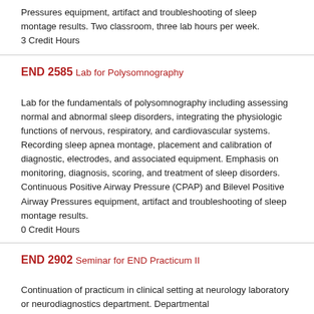Pressures equipment, artifact and troubleshooting of sleep montage results. Two classroom, three lab hours per week.
3 Credit Hours
END 2585 Lab for Polysomnography
Lab for the fundamentals of polysomnography including assessing normal and abnormal sleep disorders, integrating the physiologic functions of nervous, respiratory, and cardiovascular systems. Recording sleep apnea montage, placement and calibration of diagnostic, electrodes, and associated equipment. Emphasis on monitoring, diagnosis, scoring, and treatment of sleep disorders. Continuous Positive Airway Pressure (CPAP) and Bilevel Positive Airway Pressures equipment, artifact and troubleshooting of sleep montage results.
0 Credit Hours
END 2902 Seminar for END Practicum II
Continuation of practicum in clinical setting at neurology laboratory or neurodiagnostics department. Departmental...